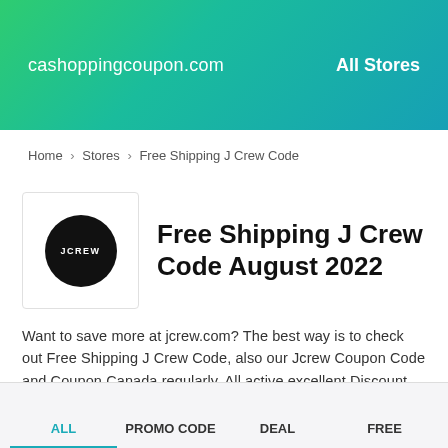cashoppingcoupon.com   All Stores
Home > Stores > Free Shipping J Crew Code
Free Shipping J Crew Code August 2022
Want to save more at jcrew.com? The best way is to check out Free Shipping J Crew Code, also our Jcrew Coupon Code and Coupon Canada regularly. All active excellent Discount Code...
Go to Jcrew
ALL   PROMO CODE   DEAL   FREE